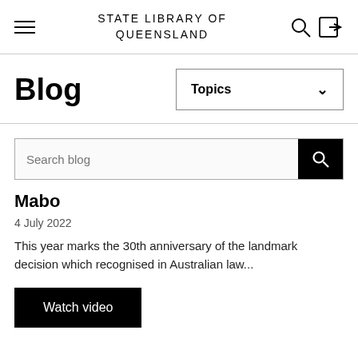STATE LIBRARY OF QUEENSLAND
Blog
Topics
Search blog
Mabo
4 July 2022
This year marks the 30th anniversary of the landmark decision which recognised in Australian law...
Watch video